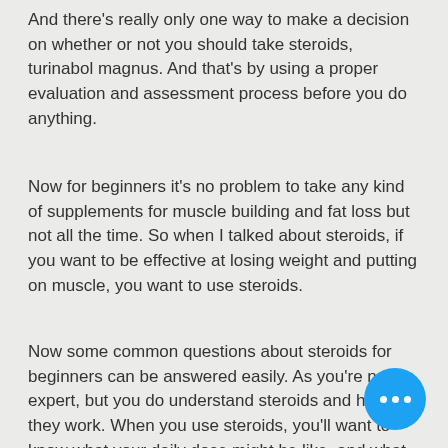And there's really only one way to make a decision on whether or not you should take steroids, turinabol magnus. And that's by using a proper evaluation and assessment process before you do anything.
Now for beginners it's no problem to take any kind of supplements for muscle building and fat loss but not all the time. So when I talked about steroids, if you want to be effective at losing weight and putting on muscle, you want to use steroids.
Now some common questions about steroids for beginners can be answered easily. As you're not an expert, but you do understand steroids and how they work. When you use steroids, you'll want to know what your daily dose might be like, and what supplements might work for you,